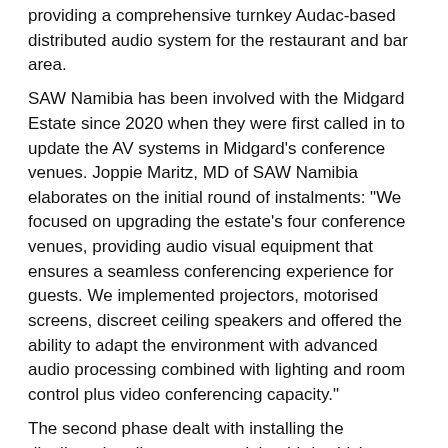providing a comprehensive turnkey Audac-based distributed audio system for the restaurant and bar area. SAW Namibia has been involved with the Midgard Estate since 2020 when they were first called in to update the AV systems in Midgard's conference venues. Joppie Maritz, MD of SAW Namibia elaborates on the initial round of instalments: "We focused on upgrading the estate's four conference venues, providing audio visual equipment that ensures a seamless conferencing experience for guests. We implemented projectors, motorised screens, discreet ceiling speakers and offered the ability to adapt the environment with advanced audio processing combined with lighting and room control plus video conferencing capacity." The second phase dealt with installing the distributed audio system, and the third, which commences later this month, observes the integration of a smaller Audac system for the wellness centre. The brief for the second phase was to design and install a multi-zone, distributed audio system with volume control and independent source selection for each zone. Naturally, the installation had to be discreet to match the illustrious aesthetic of the venue. It was also important that the system was scalable for future upgrades.